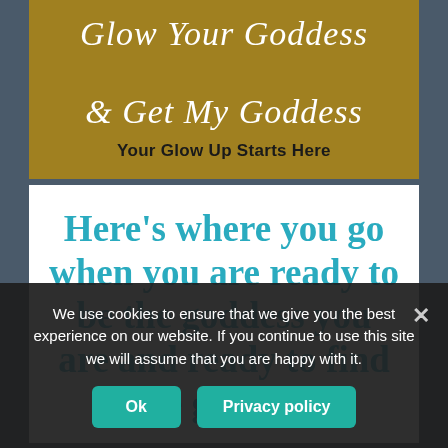Glow Your Goddess & Get My Goddess
Your Glow Up Starts Here
Here's where you go when you are ready to be the goddess you are and ready to find the goddess
We use cookies to ensure that we give you the best experience on our website. If you continue to use this site we will assume that you are happy with it.
Ok
Privacy policy